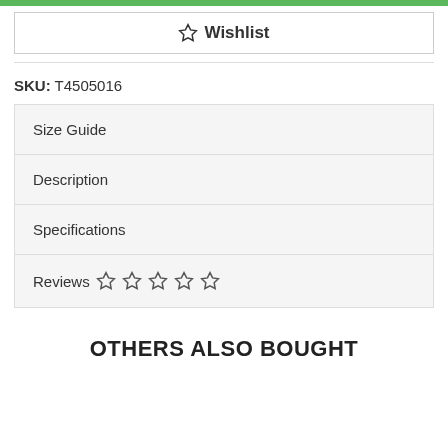Wishlist
SKU: T4505016
Size Guide
Description
Specifications
Reviews ☆☆☆☆☆
OTHERS ALSO BOUGHT